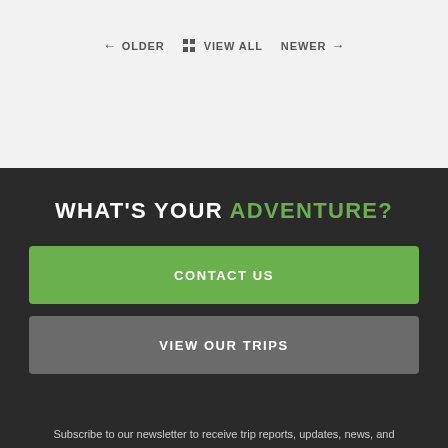← OLDER   ⊞ VIEW ALL   NEWER →
WHAT'S YOUR ADVENTURE?
CONTACT US
VIEW OUR TRIPS
Subscribe to our newsletter to receive trip reports, updates, news, and